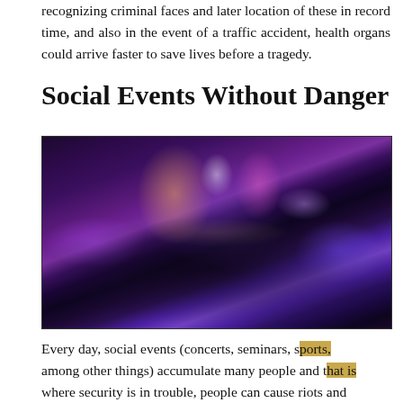recognizing criminal faces and later location of these in record time, and also in the event of a traffic accident, health organs could arrive faster to save lives before a tragedy.
Social Events Without Danger
[Figure (photo): Aerial view of a large outdoor concert or festival at night, with colorful stage lights illuminating a massive crowd, scaffolding structures on the sides, and beams of purple, pink and white light emanating from the stage.]
Every day, social events (concerts, seminars, sports, among other things) accumulate many people and that is where security is in trouble, people can cause riots and